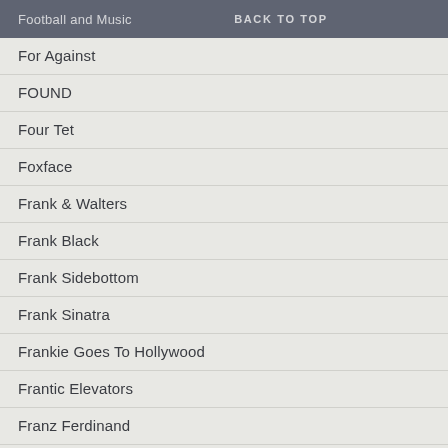Football and Music  BACK TO TOP
For Against
FOUND
Four Tet
Foxface
Frank & Walters
Frank Black
Frank Sidebottom
Frank Sinatra
Frankie Goes To Hollywood
Frantic Elevators
Franz Ferdinand
Fratellis